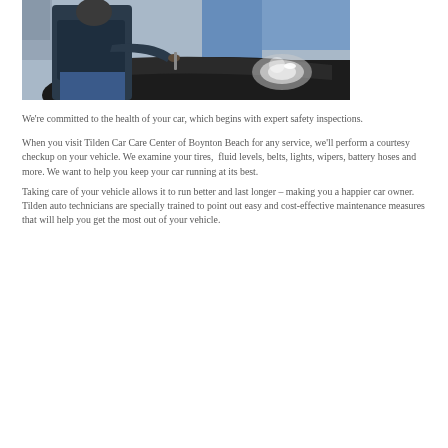[Figure (photo): A mechanic in a dark jacket leaning over the front of a car, working under the hood near the headlight area, in an auto shop environment.]
We're committed to the health of your car, which begins with expert safety inspections.
When you visit Tilden Car Care Center of Boynton Beach for any service, we'll perform a courtesy checkup on your vehicle. We examine your tires, fluid levels, belts, lights, wipers, battery hoses and more. We want to help you keep your car running at its best.
Taking care of your vehicle allows it to run better and last longer – making you a happier car owner. Tilden auto technicians are specially trained to point out easy and cost-effective maintenance measures that will help you get the most out of your vehicle.